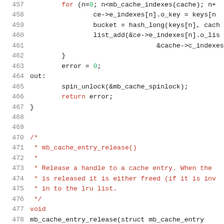Source code listing, lines 457-478, C code for mb_cache functions including loop, error handling, spin_unlock, return, and mb_cache_entry_release comment block
457     for (n=0; n<mb_cache_indexes(cache); n+
458             ce->e_indexes[n].o_key = keys[n
459             bucket = hash_long(keys[n], cach
460             list_add(&ce->e_indexes[n].o_lis
461                             &cache->c_indexes_hash
462         }
463         error = 0;
464 out:
465         spin_unlock(&mb_cache_spinlock);
466         return error;
467 }
468
469
470 /*
471  * mb_cache_entry_release()
472  *
473  * Release a handle to a cache entry. When the
474  * is released it is either freed (if it is inv
475  * in to the lru list.
476  */
477 void
478 mb_cache_entry_release(struct mb_cache_entry